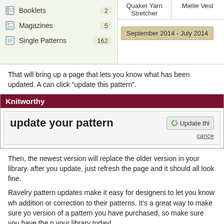[Figure (screenshot): Ravelry library sidebar showing Booklets (2), Magazines (5), Single Patterns (162), and date bar September 2014 - July 2014]
That will bring up a page that lets you know what has been updated. A can click “update this pattern”.
[Figure (screenshot): Knitworthy website screenshot showing 'update your pattern' page with Update this button and cancel link]
Then, the newest version will replace the older version in your library. after you update, just refresh the page and it should all look fine.
Ravelry pattern updates make it easy for designers to let you know wh addition or correction to their patterns. It's a great way to make sure yo version of a pattern you have purchased, so make sure you have the n your library today!
Posted by onestitchshort